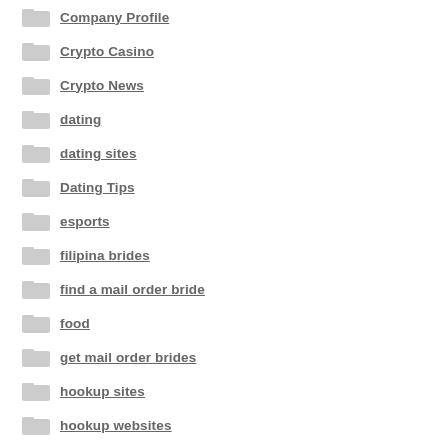Company Profile
Crypto Casino
Crypto News
dating
dating sites
Dating Tips
esports
filipina brides
find a mail order bride
food
get mail order brides
hookup sites
hookup websites